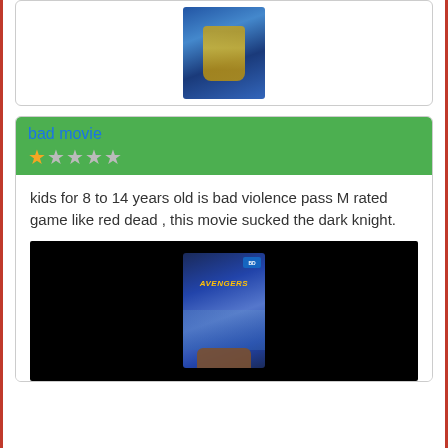[Figure (photo): Top of page: product card with a Blu-ray movie case image showing Avengers Infinity War with a golden gauntlet on blue background]
bad movie
[Figure (other): Star rating: 1 out of 5 stars (one filled gold star, four empty grey stars)]
kids for 8 to 14 years old is bad violence pass M rated game like red dead , this movie sucked the dark knight.
[Figure (photo): Bottom image: Avengers Infinity War Blu-ray case being held by a hand, against a black background]